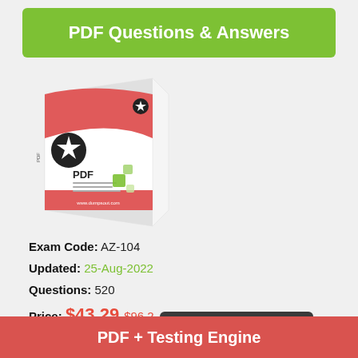PDF Questions & Answers
[Figure (illustration): 3D box product image of a PDF study guide with red and white design, star badge, and green accent squares. Brand: Dumpsout.com]
Exam Code: AZ-104
Updated: 25-Aug-2022
Questions: 520
Price: $43.29 $96.2
Add to Cart
PDF + Testing Engine